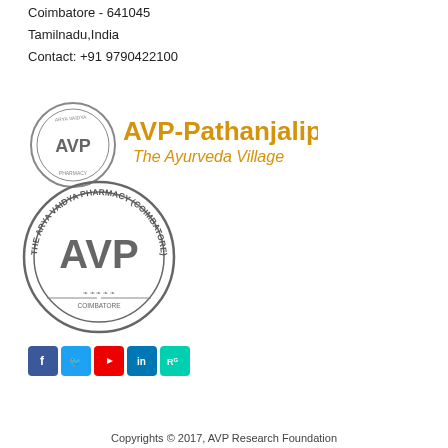Coimbatore - 641045
Tamilnadu,India
Contact: +91 9790422100
[Figure (logo): AVP-Pathanjalipuri The Ayurveda Village logo with circular AVP emblem and orange text]
[Figure (logo): The Arya Vaidya Pharmacy (Coimbatore) Ltd circular stamp logo]
[Figure (infographic): Social media icons: Facebook, Twitter, YouTube, LinkedIn, ResearchGate]
Copyrights © 2017, AVP Research Foundation